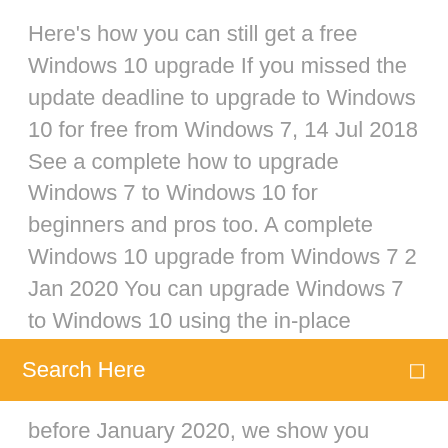Here's how you can still get a free Windows 10 upgrade If you missed the update deadline to upgrade to Windows 10 for free from Windows 7,  14 Jul 2018 See a complete how to upgrade Windows 7 to Windows 10 for beginners and pros too. A complete Windows 10 upgrade from Windows 7  2 Jan 2020 You can upgrade Windows 7 to Windows 10 using the in-place
Search Here
before January 2020, we show you how. But this isn't cheap: for Windows 7 Pro machines, it will cost up to
How to copy installed printer drivers in windows 7
Latest blackberry desktop manager for windows 10
Coffee cup web form builder lite download
Super mario bros nes download pc
3d animation cartoon maker software free download
Can i use ipad as a graphics tablet
Toll free number of state bank of india